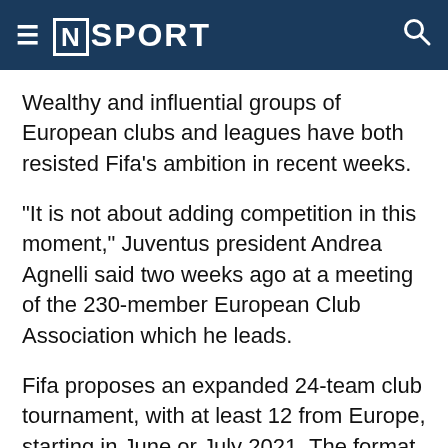[N] SPORT
Wealthy and influential groups of European clubs and leagues have both resisted Fifa's ambition in recent weeks.
"It is not about adding competition in this moment," Juventus president Andrea Agnelli said two weeks ago at a meeting of the 230-member European Club Association which he leads.
Fifa proposes an expanded 24-team club tournament, with at least 12 from Europe, starting in June or July 2021. The format of eight three-team groups, advancing to an eight-team knockout round, would see teams